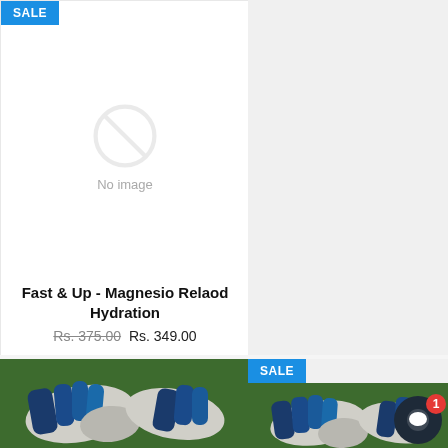[Figure (screenshot): Product card with SALE badge and no image placeholder]
Fast & Up - Magnesio Relaod Hydration
Rs. 375.00 Rs. 349.00
[Figure (photo): Goalkeeper gloves on grass background - bottom left]
[Figure (photo): Goalkeeper gloves on grass background - bottom right with SALE badge]